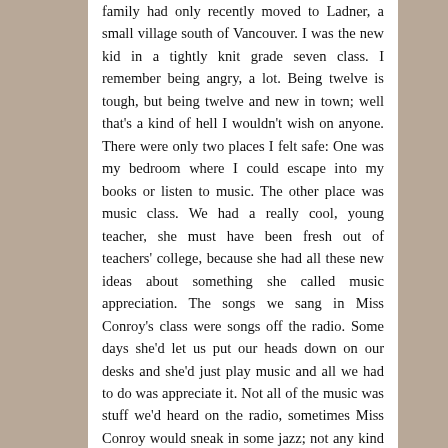family had only recently moved to Ladner, a small village south of Vancouver. I was the new kid in a tightly knit grade seven class. I remember being angry, a lot. Being twelve is tough, but being twelve and new in town; well that's a kind of hell I wouldn't wish on anyone. There were only two places I felt safe: One was my bedroom where I could escape into my books or listen to music. The other place was music class. We had a really cool, young teacher, she must have been fresh out of teachers' college, because she had all these new ideas about something she called music appreciation. The songs we sang in Miss Conroy's class were songs off the radio. Some days she'd let us put our heads down on our desks and she'd just play music and all we had to do was appreciate it. Not all of the music was stuff we'd heard on the radio, sometimes Miss Conroy would sneak in some jazz; not any kind of jazz I'd ever heard before, improvisational jazz; it was so cool to my twelve year-old ears that I gave Miss Conroy a pass when she would slip into teacher mode and put some classical music on the record player.